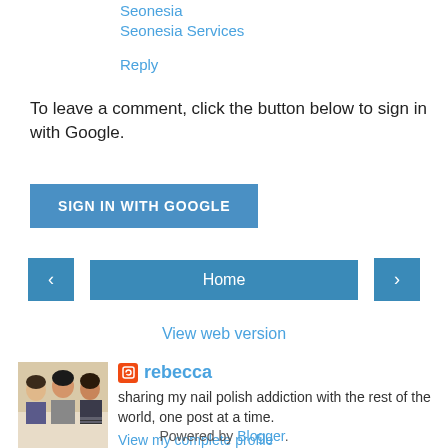Seonesia
Seonesia Services
Reply
To leave a comment, click the button below to sign in with Google.
SIGN IN WITH GOOGLE
‹
Home
›
View web version
[Figure (photo): Profile photo of Rebecca showing three women posing together]
rebecca
sharing my nail polish addiction with the rest of the world, one post at a time.
View my complete profile
Powered by Blogger.